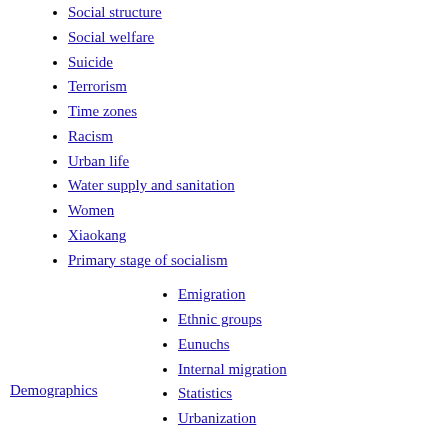Social structure
Social welfare
Suicide
Terrorism
Time zones
Racism
Urban life
Water supply and sanitation
Women
Xiaokang
Primary stage of socialism
Demographics
Emigration
Ethnic groups
Eunuchs
Internal migration
Statistics
Urbanization
Outline
Category
Portal
Public holidays in Asia